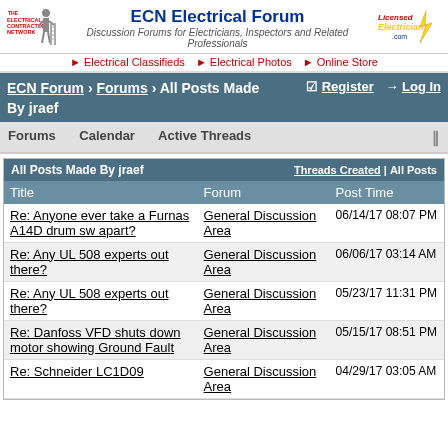ECN Electrical Forum – Discussion Forums for Electricians, Inspectors and Related Professionals
▶ Electrical Classifieds  ▶ Electrical Photos  ▶ Online Store
ECN Forum › Forums › All Posts Made By jraef   ☑ Register  ➜ Log In
Forums   Calendar   Active Threads   ||
| All Posts Made By jraef |  | Threads Created | All Posts |
| --- | --- | --- |
| Title | Forum | Post Time |
| Re: Anyone ever take a Furnas A14D drum sw apart? | General Discussion Area | 06/14/17 08:07 PM |
| Re: Any UL 508 experts out there? | General Discussion Area | 06/06/17 03:14 AM |
| Re: Any UL 508 experts out there? | General Discussion Area | 05/23/17 11:31 PM |
| Re: Danfoss VFD shuts down motor showing Ground Fault | General Discussion Area | 05/15/17 08:51 PM |
| Re: Schneider LC1D09 | General Discussion Area | 04/29/17 03:05 AM |